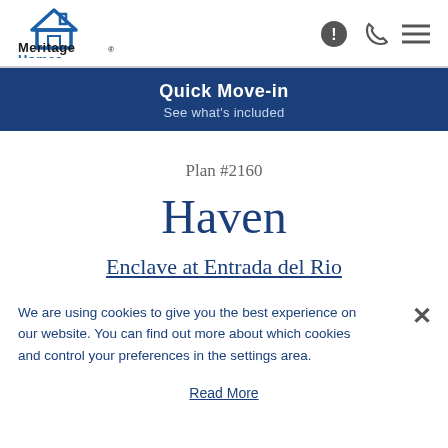[Figure (logo): Meritage Homes logo with house icon above the text]
Quick Move-in
See what's included
Plan #2160
Haven
Enclave at Entrada del Rio
We are using cookies to give you the best experience on our website. You can find out more about which cookies and control your preferences in the settings area.
Read More